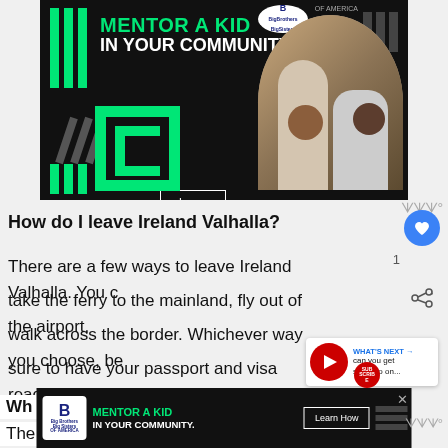[Figure (photo): Advertisement banner: 'Mentor a Kid in Your Community' with Big Brothers Big Sisters branding, green and black design with photo of adult and child working together on a robot]
How do I leave Ireland Valhalla?
There are a few ways to leave Ireland Valhalla. You can take the ferry to the mainland, fly out of the airport, walk across the border. Whichever way you choose, be sure to have your passport and visa ready.
[Figure (screenshot): WHAT'S NEXT video overlay showing 'can you get slither io on...']
[Figure (photo): Bottom advertisement: Big Brothers Big Sisters 'Mentor a Kid in Your Community' with Learn How button]